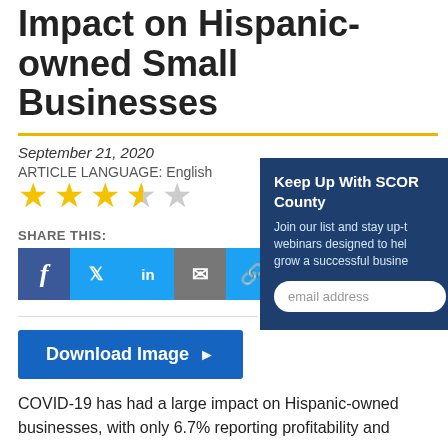Impact on Hispanic-owned Small Businesses
September 21, 2020
ARTICLE LANGUAGE: English
[Figure (other): 4 out of 5 stars rating (3.5 filled yellow stars and 1.5 gray stars)]
SHARE THIS:
[Figure (other): Social share buttons: Facebook, Twitter, LinkedIn, Email, Link]
[Figure (other): SCORE County sidebar panel with email signup form reading: Keep Up With SCORE County. Join our list and stay up-to-date on webinars designed to help you start and grow a successful business. Email address input field.]
Download Image ▶
COVID-19 has had a large impact on Hispanic-owned businesses, with only 6.7% reporting profitability and